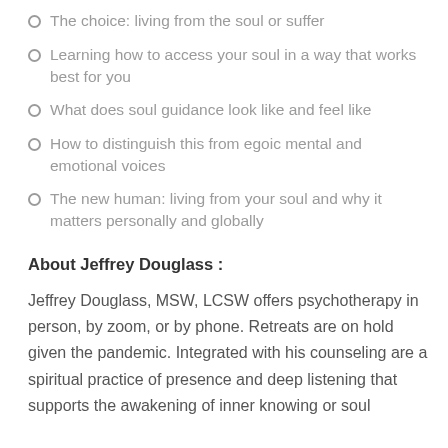The choice: living from the soul or suffer
Learning how to access your soul in a way that works best for you
What does soul guidance look like and feel like
How to distinguish this from egoic mental and emotional voices
The new human: living from your soul and why it matters personally and globally
About Jeffrey Douglass :
Jeffrey Douglass, MSW, LCSW offers psychotherapy in person, by zoom, or by phone. Retreats are on hold given the pandemic. Integrated with his counseling are a spiritual practice of presence and deep listening that supports the awakening of inner knowing or soul